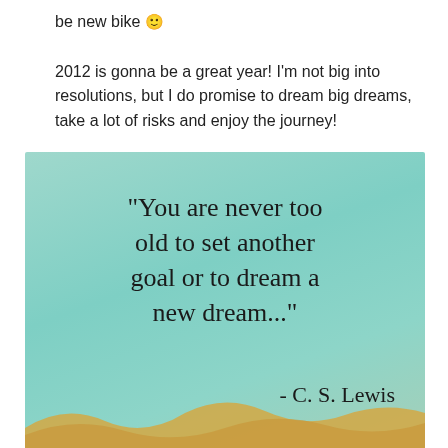be new bike 🙂

2012 is gonna be a great year! I'm not big into resolutions, but I do promise to dream big dreams, take a lot of risks and enjoy the journey!
[Figure (photo): A teal/mint colored background image with handwritten-style text quote: "You are never too old to set another goal or to dream a new dream..." - C. S. Lewis, with a sandy dune at the bottom.]